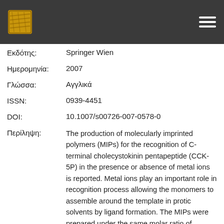[Figure (logo): Logo image in top-left of dark header bar]
Εκδότης: Springer Wien
Ημερομηνία: 2007
Γλώσσα: Αγγλικά
ISSN: 0939-4451
DOI: 10.1007/s00726-007-0578-0
Περίληψη: The production of molecularly imprinted polymers (MIPs) for the recognition of C-terminal cholecystokinin pentapeptide (CCK-5P) in the presence or absence of metal ions is reported. Metal ions play an important role in recognition process allowing the monomers to assemble around the template in protic solvents by ligand formation. The MIPs were prepared under the same molar ratio of template to monomers (acrylamide N N0-methylene bisacrylamide) in the presence or